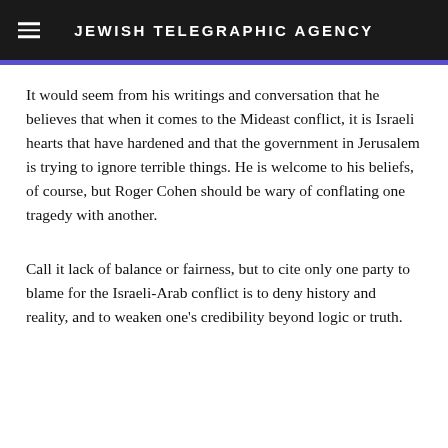JEWISH TELEGRAPHIC AGENCY
It would seem from his writings and conversation that he believes that when it comes to the Mideast conflict, it is Israeli hearts that have hardened and that the government in Jerusalem is trying to ignore terrible things. He is welcome to his beliefs, of course, but Roger Cohen should be wary of conflating one tragedy with another.
Call it lack of balance or fairness, but to cite only one party to blame for the Israeli-Arab conflict is to deny history and reality, and to weaken one’s credibility beyond logic or truth.